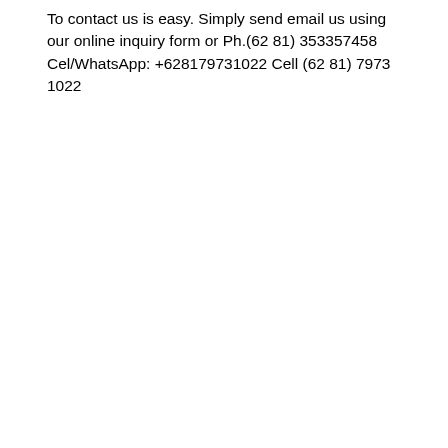To contact us is easy. Simply send email us using our online inquiry form or Ph.(62 81) 353357458 Cel/WhatsApp: +628179731022 Cell (62 81) 7973 1022